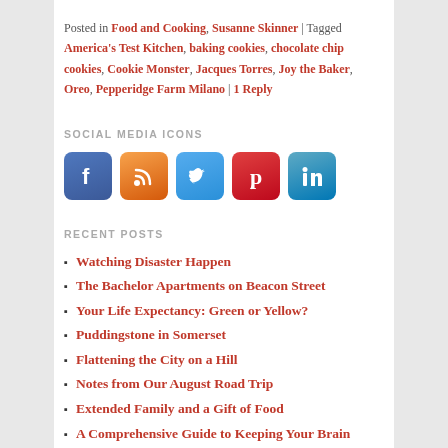Posted in Food and Cooking, Susanne Skinner | Tagged America's Test Kitchen, baking cookies, chocolate chip cookies, Cookie Monster, Jacques Torres, Joy the Baker, Oreo, Pepperidge Farm Milano | 1 Reply
SOCIAL MEDIA ICONS
[Figure (illustration): Five social media icon buttons: Facebook (blue), RSS (orange), Twitter (blue), Pinterest (red), LinkedIn (light blue)]
RECENT POSTS
Watching Disaster Happen
The Bachelor Apartments on Beacon Street
Your Life Expectancy: Green or Yellow?
Puddingstone in Somerset
Flattening the City on a Hill
Notes from Our August Road Trip
Extended Family and a Gift of Food
A Comprehensive Guide to Keeping Your Brain Healthy